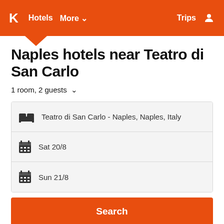K  Hotels  More ▾  Trips  👤
Naples hotels near Teatro di San Carlo
1 room, 2 guests ∨
Teatro di San Carlo - Naples, Naples, Italy
Sat 20/8
Sun 21/8
Search